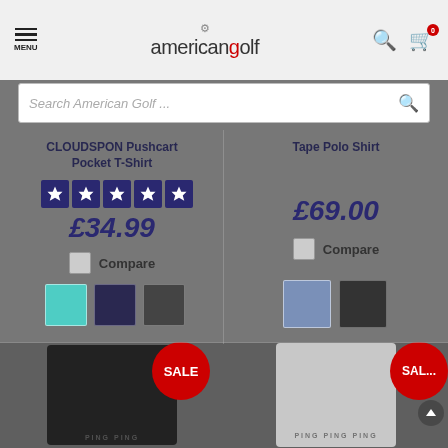[Figure (screenshot): American Golf website header with menu icon, logo, search icon and cart icon]
Search American Golf ...
CLOUDSPON Pushcart Pocket T-Shirt
[Figure (other): 5-star rating displayed as dark blue star icons]
£34.99
Compare
[Figure (other): Color swatches: cyan/teal, dark navy, dark grey]
Tape Polo Shirt
£69.00
Compare
[Figure (other): Color swatches: blue-grey, dark charcoal]
[Figure (photo): Dark navy t-shirt product photo with SALE badge]
[Figure (photo): Light grey t-shirt product photo with SALE badge]